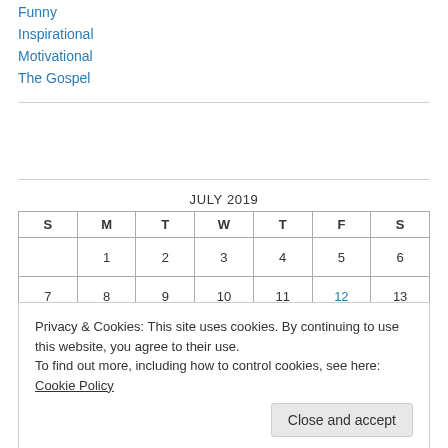Funny
Inspirational
Motivational
The Gospel
| S | M | T | W | T | F | S |
| --- | --- | --- | --- | --- | --- | --- |
|  | 1 | 2 | 3 | 4 | 5 | 6 |
| 7 | 8 | 9 | 10 | 11 | 12 | 13 |
Privacy & Cookies: This site uses cookies. By continuing to use this website, you agree to their use.
To find out more, including how to control cookies, see here: Cookie Policy
Close and accept